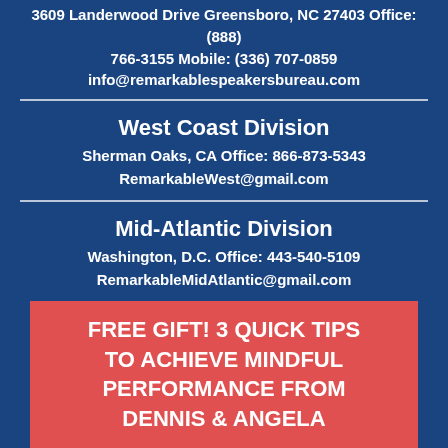3609 Landerwood Drive Greensboro, NC 27403 Office: (888) 766-3155 Mobile: (336) 707-0859 info@remarkablespeakersbureau.com
West Coast Division
Sherman Oaks, CA Office: 866-873-5343
RemarkableWest@gmail.com
Mid-Atlantic Division
Washington, D.C. Office: 443-540-5109
RemarkableMidAtlantic@gmail.com
FREE GIFT! 3 QUICK TIPS TO ACHIEVE MINDFUL PERFORMANCE FROM DENNIS & ANGELA